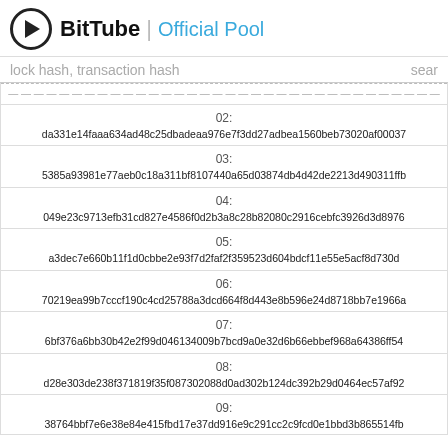BitTube | Official Pool
lock hash, transaction hash  sear
| index | hash |
| --- | --- |
| 02: | da331e14faaa634ad48c25dbadeaa976e7f3dd27adbea1560beb73020af00037 |
| 03: | 5385a93981e77aeb0c18a311bf8107440a65d03874db4d42de2213d490311ffb |
| 04: | 049e23c9713efb31cd827e4586f0d2b3a8c28b82080c2916cebfc3926d3d8976 |
| 05: | a3dec7e660b11f1d0cbbe2e93f7d2faf2f359523d604bdcf11e55e5acf8d730d |
| 06: | 70219ea99b7cccf190c4cd25788a3dcd664f8d443e8b596e24d8718bb7e1966a |
| 07: | 6bf376a6bb30b42e2f99d046134009b7bcd9a0e32d6b66ebbef968a64386ff54 |
| 08: | d28e303de238f371819f35f087302088d0ad302b124dc392b29d0464ec57af92 |
| 09: | 38764bbf7e6e38e84e415fbd17e37dd916e9c291cc2c9fcd0e1bbd3b865514fb |